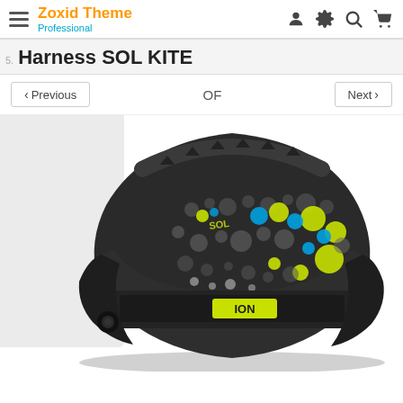Zoxid Theme Professional
Harness SOL KITE
Previous  OF  Next
[Figure (photo): ION Harness SOL KITE product photo — a black kite harness with grey, yellow-green, and blue polka-dot pattern and ION logo in yellow on front strap, shown at an angle on white background.]